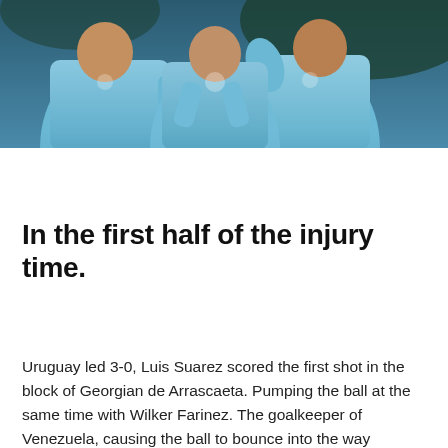[Figure (photo): Photo of Uruguay football players in light blue jerseys celebrating or posing together]
In the first half of the injury time.
Uruguay led 3-0, Luis Suarez scored the first shot in the block of Georgian de Arrascaeta. Pumping the ball at the same time with Wilker Farinez. The goalkeeper of Venezuela, causing the ball to bounce into the way Edinson Cavani had somersaulted. Shot at a distance of less than ten yards into the goal beautifully.
The second half started 5 minutes. Uruguay got a penalty after Fernando Beauticians for delphic in Suarez and the